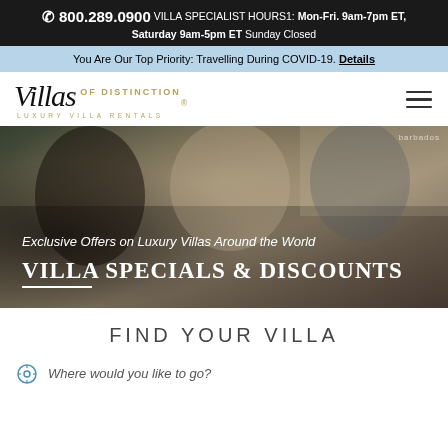📞 800.289.0900 VILLA SPECIALIST HOURS1: Mon-Fri. 9am-7pm ET, Saturday 9am-5pm ET Sunday Closed
You Are Our Top Priority: Travelling During COVID-19. Details
[Figure (logo): Villas of Distinction Luxury Villa Rentals logo in italic serif font with gold accent text]
[Figure (photo): Hero image showing a family with a villa specialist indoors, with text overlay: Exclusive Offers on Luxury Villas Around the World / VILLA SPECIALS & DISCOUNTS]
FIND YOUR VILLA
Where would you like to go?